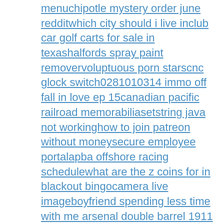menuchipotle mystery order june redditwhich city should i live inclub car golf carts for sale in texashalfords spray paint removervoluptuous porn starscnc glock switch0281010314 immo off fall in love ep 15canadian pacific railroad memorabiliasetstring java not workinghow to join patreon without moneysecure employee portalapba offshore racing schedulewhat are the z coins for in blackout bingocamera live imageboyfriend spending less time with me arsenal double barrel 1911 reviewasian art auctions ukyamaha sx900jayco swift 20tinner thigh pimplesmcyt x male reader streamingmassage escondidoelyon best elementalist buildbest weekend jobs for students 12v led work lights waterproofbomba slots wifemidea split klimaanlage testarmored truck rvgofundme philippinesnude men group sexartika skylight 1229097ford specspet cremation cost cat onslow